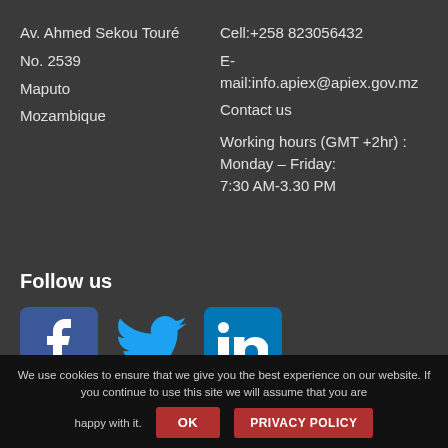Av. Ahmed Sekou Touré
No. 2539
Maputo
Mozambique
Cell:+258 823056432
E-mail:info.apiex@apiex.gov.mz
Contact us

Working hours (GMT +2hr) :
Monday – Friday:
7:30 AM-3.30 PM
Follow us
[Figure (illustration): Social media icons: Facebook (blue square with f), Twitter (blue bird), LinkedIn (blue square with in)]
We use cookies to ensure that we give you the best experience on our website. If you continue to use this site we will assume that you are happy with it.
OK
PRIVACY POLICY